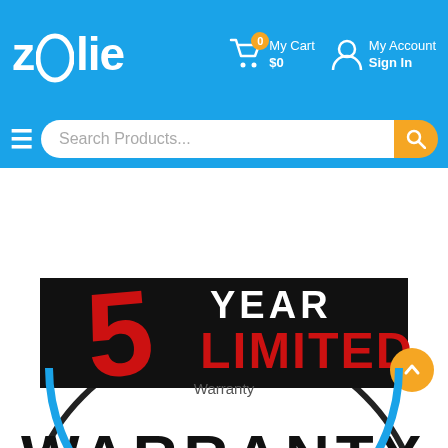zoolie — My Cart $0 | My Account Sign In
[Figure (screenshot): Zoolie website header with logo, cart showing $0 and 0 items, and My Account / Sign In link on a blue background]
[Figure (screenshot): Search bar with hamburger menu icon, 'Search Products...' input field, and orange search button on blue background]
[Figure (illustration): 5 YEAR LIMITED WARRANTY badge/seal: large red numeral 5 with circular arrow, text 'YEAR LIMITED' in white/red on black banner, and 'WARRANTY' in large dark letters below a circular border]
Warranty
[Figure (illustration): Bottom portion of a blue circular warranty/badge seal]